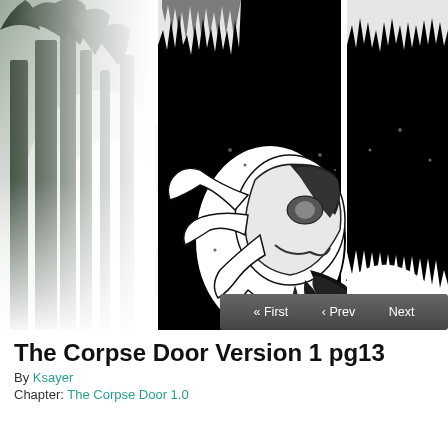[Figure (illustration): Screenshot of a webcomic page viewer. Left side shows a misty black-and-white photograph of trees with light filtering through fog. Center and right show two comic book panels with black backgrounds: the main panel features a ghostly creature with long flowing hair and a skull-like face surrounded by dark tentacle-like forms, all in black and white ink style. A navigation bar with '« First', '< Prev', 'Next' buttons appears below the panels.]
The Corpse Door Version 1 pg13
By Ksayer
Chapter: The Corpse Door 1.0